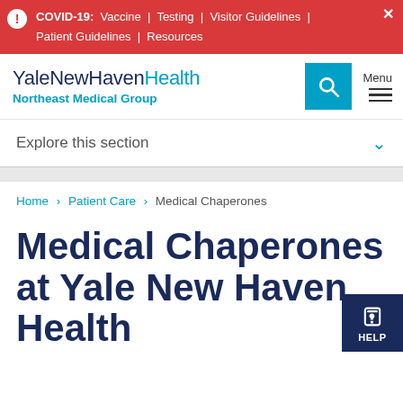COVID-19: Vaccine | Testing | Visitor Guidelines | Patient Guidelines | Resources
[Figure (screenshot): YaleNewHavenHealth Northeast Medical Group logo with search icon and menu button]
Explore this section
Home > Patient Care > Medical Chaperones
Medical Chaperones at Yale New Haven Health